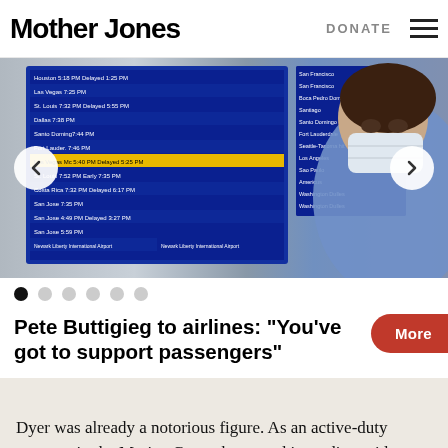Mother Jones | DONATE
[Figure (photo): Airport departure board showing flight information on a blue screen, with a masked traveler visible in the background wearing a light blue top. Navigation arrows (left and right) are overlaid on the image. Carousel dots appear below the image, first dot filled/active.]
Pete Buttigieg to airlines: “You’ve got to support passengers”
Dyer was already a notorious figure. As an active-duty sergeant in the Marine Corps, he posted incendiary videos on YouTube under the handle